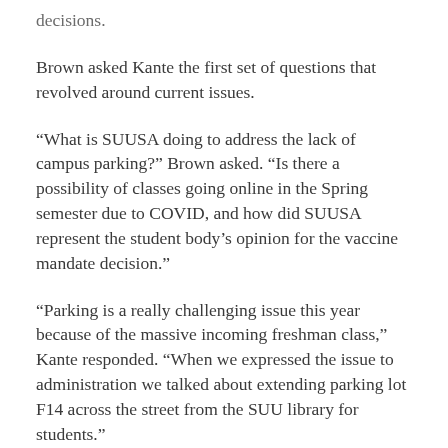decisions.
Brown asked Kante the first set of questions that revolved around current issues.
“What is SUUSA doing to address the lack of campus parking?” Brown asked. “Is there a possibility of classes going online in the Spring semester due to COVID, and how did SUUSA represent the student body’s opinion for the vaccine mandate decision.”
“Parking is a really challenging issue this year because of the massive incoming freshman class,” Kante responded. “When we expressed the issue to administration we talked about extending parking lot F14 across the street from the SUU library for students.”
Kante further explained that parking is an ongoing issue